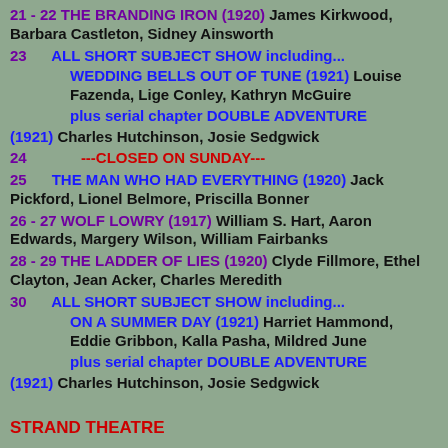21 - 22 THE BRANDING IRON (1920) James Kirkwood, Barbara Castleton, Sidney Ainsworth
23 ALL SHORT SUBJECT SHOW including... WEDDING BELLS OUT OF TUNE (1921) Louise Fazenda, Lige Conley, Kathryn McGuire plus serial chapter DOUBLE ADVENTURE (1921) Charles Hutchinson, Josie Sedgwick
24 ---CLOSED ON SUNDAY---
25 THE MAN WHO HAD EVERYTHING (1920) Jack Pickford, Lionel Belmore, Priscilla Bonner
26 - 27 WOLF LOWRY (1917) William S. Hart, Aaron Edwards, Margery Wilson, William Fairbanks
28 - 29 THE LADDER OF LIES (1920) Clyde Fillmore, Ethel Clayton, Jean Acker, Charles Meredith
30 ALL SHORT SUBJECT SHOW including... ON A SUMMER DAY (1921) Harriet Hammond, Eddie Gribbon, Kalla Pasha, Mildred June plus serial chapter DOUBLE ADVENTURE (1921) Charles Hutchinson, Josie Sedgwick
STRAND THEATRE